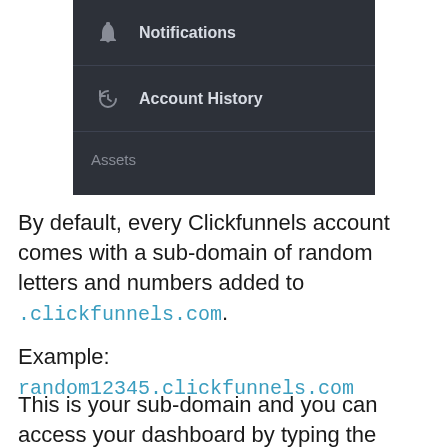[Figure (screenshot): Dark-themed UI menu showing three items: Notifications (with bell icon), Account History (with history icon), and Assets (section header). Background is dark gray (#2d3139).]
By default, every Clickfunnels account comes with a sub-domain of random letters and numbers added to .clickfunnels.com.
Example: random12345.clickfunnels.com
This is your sub-domain and you can access your dashboard by typing the address in your browser.